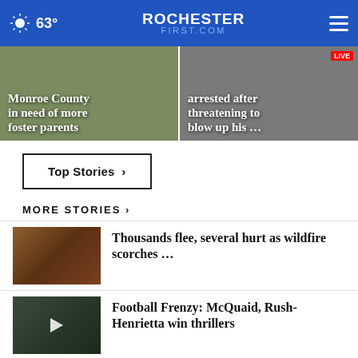63° ROCHESTER FIRST.COM
[Figure (photo): Monroe County in need of more foster parents - banner image left]
Monroe County in need of more foster parents
[Figure (photo): Arrested after threatening to blow up his ... - banner image right]
arrested after threatening to blow up his ...
Top Stories ›
MORE STORIES ›
[Figure (photo): Wildfire smoke and fire thumbnail image]
Thousands flee, several hurt as wildfire scorches …
[Figure (photo): Football player thumbnail image]
Football Frenzy: McQuaid, Rush-Henrietta win thrillers
[Figure (photo): Trump rally thumbnail image]
Trump rallies for Oz, Mastriano in Pa. amid midterm …